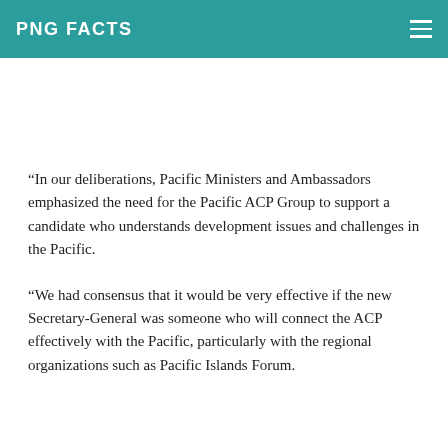PNG FACTS
“In our deliberations, Pacific Ministers and Ambassadors emphasized the need for the Pacific ACP Group to support a candidate who understands development issues and challenges in the Pacific.
“We had consensus that it would be very effective if the new Secretary-General was someone who will connect the ACP effectively with the Pacific, particularly with the regional organizations such as Pacific Islands Forum.